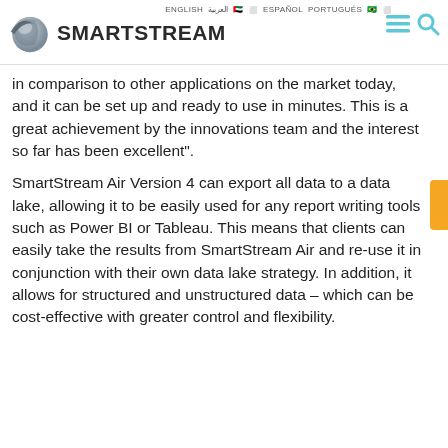ENGLISH  العربية  ESPAÑOL  PORTUGUÊS  | SmartStream [logo] [menu] [search]
in comparison to other applications on the market today, and it can be set up and ready to use in minutes. This is a great achievement by the innovations team and the interest so far has been excellent".
SmartStream Air Version 4 can export all data to a data lake, allowing it to be easily used for any report writing tools such as Power BI or Tableau. This means that clients can easily take the results from SmartStream Air and re-use it in conjunction with their own data lake strategy. In addition, it allows for structured and unstructured data – which can be cost-effective with greater control and flexibility.